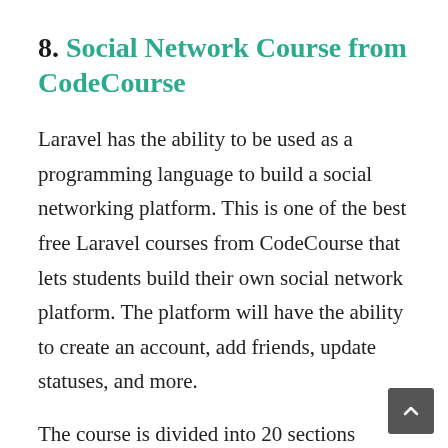8. Social Network Course from CodeCourse
Laravel has the ability to be used as a programming language to build a social networking platform. This is one of the best free Laravel courses from CodeCourse that lets students build their own social network platform. The platform will have the ability to create an account, add friends, update statuses, and more.
The course is divided into 20 sections having a step-by-step explanation of the creation process. You will be installing the framework